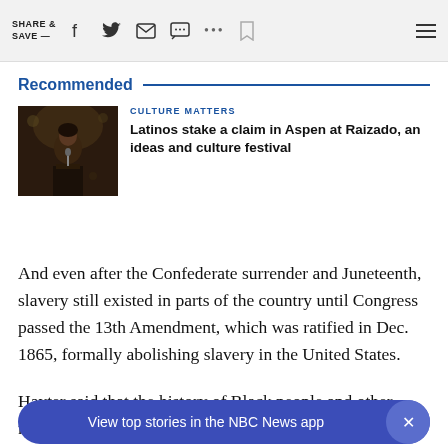SHARE & SAVE —  [social icons]
Recommended
[Figure (photo): Woman speaking at a podium at a cultural event, dark background]
CULTURE MATTERS
Latinos stake a claim in Aspen at Raizado, an ideas and culture festival
And even after the Confederate surrender and Juneteenth, slavery still existed in parts of the country until Congress passed the 13th Amendment, which was ratified in Dec. 1865, formally abolishing slavery in the United States.
Hayter said that the history of Black people and other min[orities]... whi[ch]... [an] classrooms.
View top stories in the NBC News app